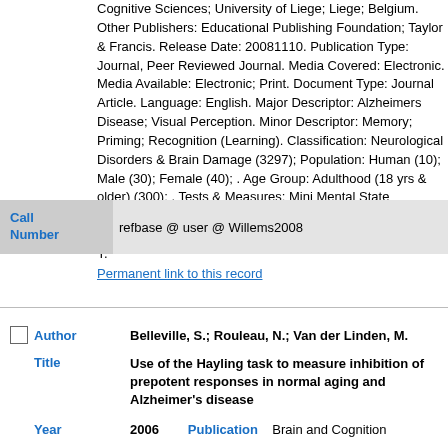Cognitive Sciences; University of Liege; Liege; Belgium. Other Publishers: Educational Publishing Foundation; Taylor & Francis. Release Date: 20081110. Publication Type: Journal, Peer Reviewed Journal. Media Covered: Electronic. Media Available: Electronic; Print. Document Type: Journal Article. Language: English. Major Descriptor: Alzheimers Disease; Visual Perception. Minor Descriptor: Memory; Priming; Recognition (Learning). Classification: Neurological Disorders & Brain Damage (3297); Population: Human (10); Male (30); Female (40); . Age Group: Adulthood (18 yrs & older) (300); . Tests & Measures: Mini Mental State Examination; Mattis Dementia Rating Scale; Methodology: Empirical Study; Quantitative Study. References Available: Y.
| Call Number |  |
| --- | --- |
| refbase @ user @ Willems2008 |  |
Permanent link to this record
| Author | Belleville, S.; Rouleau, N.; Van der Linden, M. |
| --- | --- |
| Title | Use of the Hayling task to measure inhibition of prepotent responses in normal aging and Alzheimer's disease |
| Year | 2006 | Publication | Brain and Cognition |